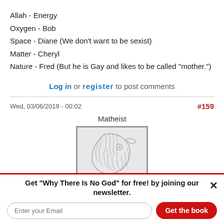Allah - Energy
Oxygen - Bob
Space - Diane (We don't want to be sexist)
Matter - Cheryl
Nature - Fred (But he is Gay and likes to be called "mother.")
Log in or register to post comments
Wed, 03/06/2019 - 00:02
#159
Matheist
[Figure (illustration): Eagle or bird head illustration in gray line art, inside a bordered box]
Get "Why There Is No God" for free! by joining our newsletter.